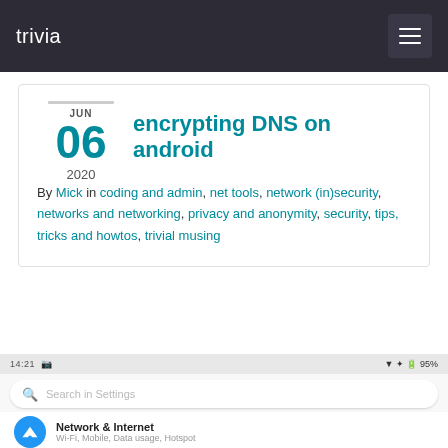trivia
encrypting DNS on android
JUN 06 2020
By Mick in coding and admin, net tools, network (in)security, networks and networking, privacy and anonymity, security, tips, tricks and howtos, trivial musing
[Figure (screenshot): Android settings screen showing status bar, Search in Settings bar, Network & Internet option with Wi-Fi, Mobile, Data usage, Hotspot subtitle, and Connected devices option]